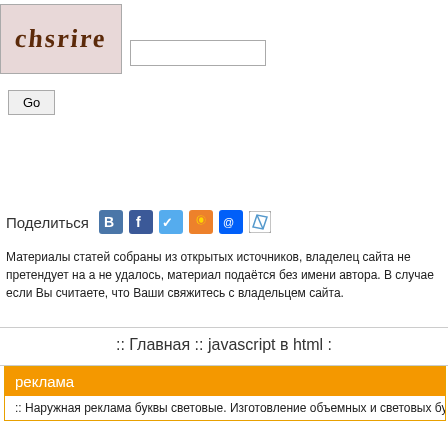[Figure (screenshot): CAPTCHA image showing distorted text 'chsrire' on a pinkish background with border]
[Figure (screenshot): Text input field for CAPTCHA entry]
[Figure (screenshot): Go button]
Поделиться
[Figure (screenshot): Social share icons: VK, Facebook, Twitter, Odnoklassniki, Mail, pencil/edit icon]
Материалы статей собраны из открытых источников, владелец сайта не претендует на а не удалось, материал подаётся без имени автора. В случае если Вы считаете, что Ваши свяжитесь с владельцем сайта.
:: Главная :: javascript в html ::
реклама
:: Наружная реклама буквы световые. Изготовление объемных и световых букв вывеск